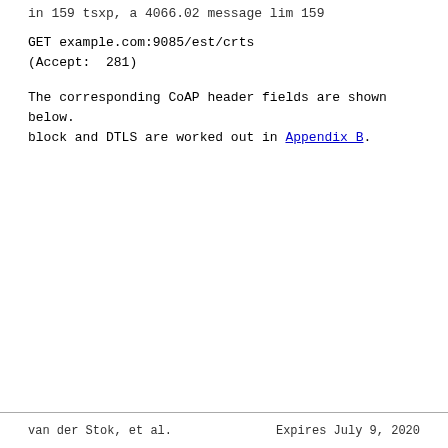in 159 tsxp, a 4066.02 message lim 159
GET example.com:9085/est/crts
(Accept:  281)
The corresponding CoAP header fields are shown below. block and DTLS are worked out in Appendix B.
van der Stok, et al.      Expires July 9, 2020